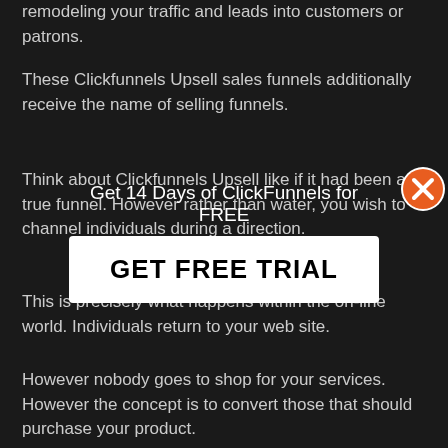remodeling your traffic and leads into customers or patrons.
These Clickfunnels Upsell sales funnels additionally receive the name of selling funnels.
Think about Clickfunnels Upsell like if it had been a true funnel. However rather than water, you wish to channel individuals during a direction.
[Figure (infographic): Popup overlay with text 'Get 14 Days of ClickFunnels for FREE' and a white button labeled 'GET FREE TRIAL', with an orange X close button in the top right corner]
This is precisely what happens within the on-line world. Individuals return to your web site.
However nobody goes to shop for your services. However the concept is to convert those that should purchase your product.